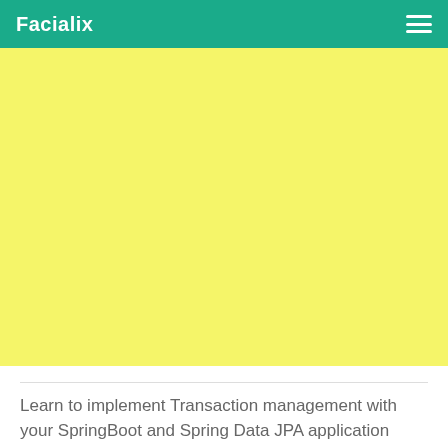Facialix
[Figure (other): Large yellow banner/hero image area below the navigation bar]
Learn to implement Transaction management with your SpringBoot and Spring Data JPA application